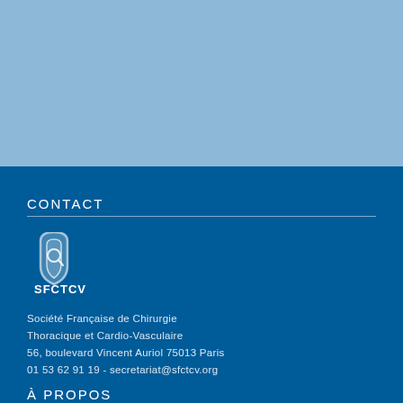[Figure (other): Light blue background section at top of page]
CONTACT
[Figure (logo): SFCTCV logo — white arch/heart shape with magnifying glass icon above text SFCTCV]
Société Française de Chirurgie Thoracique et Cardio-Vasculaire
56, boulevard Vincent Auriol 75013 Paris
01 53 62 91 19 - secretariat@sfctcv.org
À PROPOS